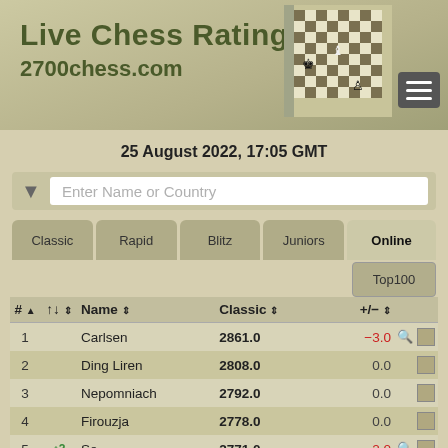Live Chess Ratings
2700chess.com
25 August 2022, 17:05 GMT
| # | ↑↓ | Name | Classic | +/− |  |
| --- | --- | --- | --- | --- | --- |
| 1 |  | Carlsen | 2861.0 | −3.0 |  |
| 2 |  | Ding Liren | 2808.0 | 0.0 |  |
| 3 |  | Nepomniach | 2792.0 | 0.0 |  |
| 4 |  | Firouzja | 2778.0 | 0.0 |  |
| 5 | ↑2 | So | 2771.0 | −2.0 |  |
| 6 | ↑2 | Nakamura | 2768.0 | 0.0 |  |
| 7 | ↑2 | Giri | 2764.3 | +4.3 |  |
| 8 | ↓2 | Aronian | 2758.6 | −16.4 |  |
| 9 | ↓4 | Caruana | 2757.7 | −18.3 |  |